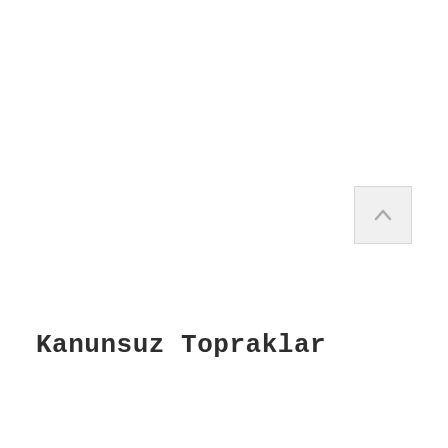[Figure (other): A scroll-to-top button UI element: a light gray square with a rounded border containing an upward-pointing chevron arrow in gray.]
Kanunsuz Topraklar